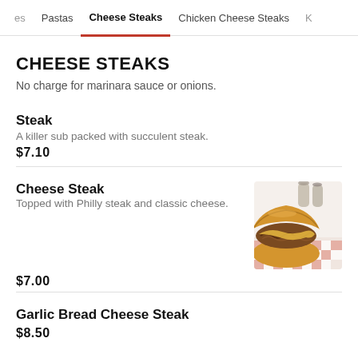es  Pastas  Cheese Steaks  Chicken Cheese Steaks  K
CHEESE STEAKS
No charge for marinara sauce or onions.
Steak
A killer sub packed with succulent steak.
$7.10
Cheese Steak
Topped with Philly steak and classic cheese.
[Figure (photo): Photo of a cheese steak sandwich on a hoagie roll with filling, served on red and white checkered paper, with condiment shakers in background.]
$7.00
Garlic Bread Cheese Steak
$8.50